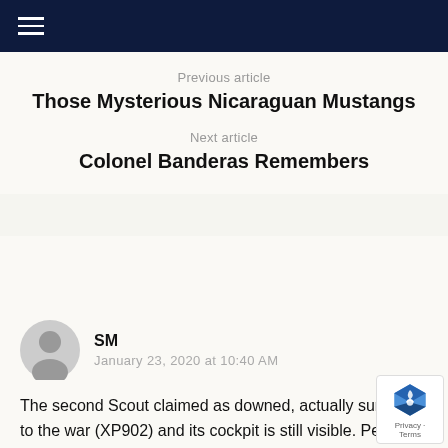≡ (hamburger menu icon)
Previous article
Those Mysterious Nicaraguan Mustangs
Next article
Colonel Banderas Remembers
Join the Conversation   2 Comments
SM
January 23, 2020 at 10:40 AM
The second Scout claimed as downed, actually survived to the war (XP902) and its cockpit is still visible. Perhaps the helicopter was forced to land, but